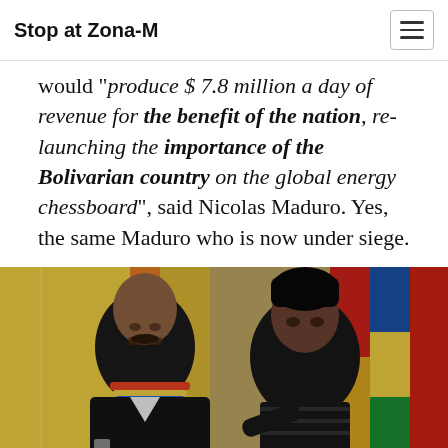Stop at Zona-M
would "produce $ 7.8 million a day of revenue for the benefit of the nation, re-launching the importance of the Bolivarian country on the global energy chessboard", said Nicolas Maduro. Yes, the same Maduro who is now under siege.
[Figure (photo): Two men in suits sitting closely and talking. The man on the left wears a colorful beaded necklace and has a mustache. The man on the right has dark hair. Flags with red, yellow, green colors visible in the background.]